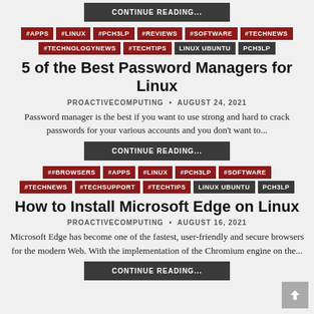CONTINUE READING...
#APPS #LINUX #PCH3LP #REVIEWS #SOFTWARE #TECHNEWS #TECHNOLOGYNEWS #TECHTIPS LINUX UBUNTU PCH3LP
5 of the Best Password Managers for Linux
PROACTIVECOMPUTING • AUGUST 24, 2021
Password manager is the best if you want to use strong and hard to crack passwords for your various accounts and you don't want to...
CONTINUE READING...
##BROWSERS #APPS #LINUX #PCH3LP #SOFTWARE #TECHNEWS #TECHSUPPORT #TECHTIPS LINUX UBUNTU PCH3LP
How to Install Microsoft Edge on Linux
PROACTIVECOMPUTING • AUGUST 16, 2021
Microsoft Edge has become one of the fastest, user-friendly and secure browsers for the modern Web. With the implementation of the Chromium engine on the...
CONTINUE READING...